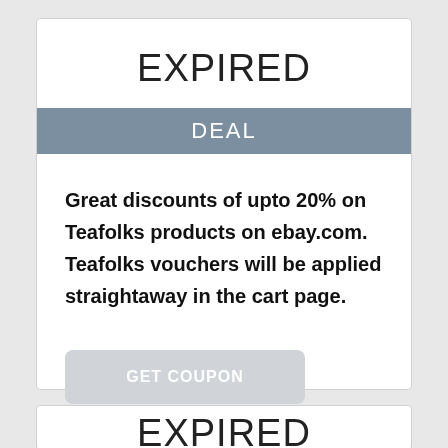EXPIRED
DEAL
Great discounts of upto 20% on Teafolks products on ebay.com. Teafolks vouchers will be applied straightaway in the cart page.
GET COUPON
EXPIRED